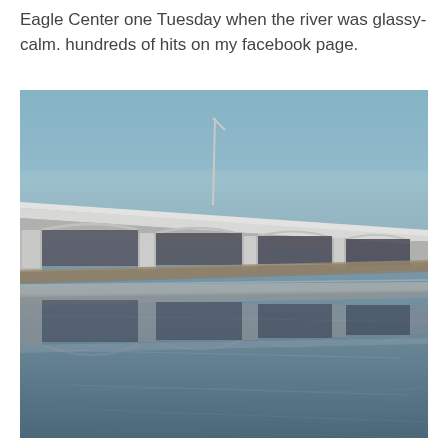Eagle Center one Tuesday when the river was glassy-calm. hundreds of hits on my facebook page.
[Figure (photo): A bridge over a calm, glassy river. The bridge has concrete pillars with arched supports and a flat roadway deck with light poles visible. The river water is so still that it creates a near-perfect mirror reflection of the bridge structure below, making the pillars and arches appear doubled. The sky is clear blue-grey. The scene is photographed from a low angle at water level, perspective view.]